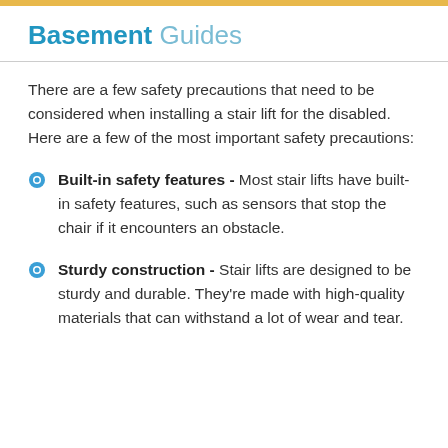Basement Guides
There are a few safety precautions that need to be considered when installing a stair lift for the disabled. Here are a few of the most important safety precautions:
Built-in safety features - Most stair lifts have built-in safety features, such as sensors that stop the chair if it encounters an obstacle.
Sturdy construction - Stair lifts are designed to be sturdy and durable. They're made with high-quality materials that can withstand a lot of wear and tear.